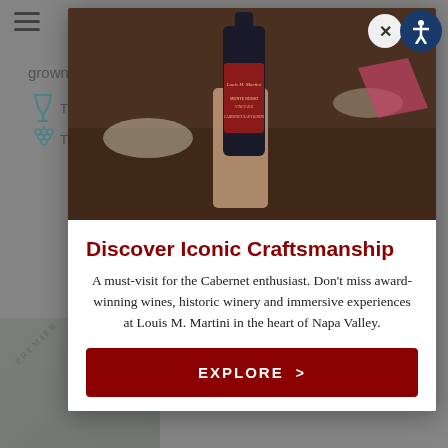[Figure (screenshot): Background webpage showing partial text 'grown' and wine/grape icons with partial labels, with a 'PREMIER' ribbon watermark in bottom left]
[Figure (photo): Modal popup overlay showing a hand holding a bottle of Louis M. Martini Monte Rosso Vineyard Cabernet Sauvignon wine against a restaurant dining table background]
Discover Iconic Craftsmanship
A must-visit for the Cabernet enthusiast. Don't miss award-winning wines, historic winery and immersive experiences at Louis M. Martini in the heart of Napa Valley.
EXPLORE >